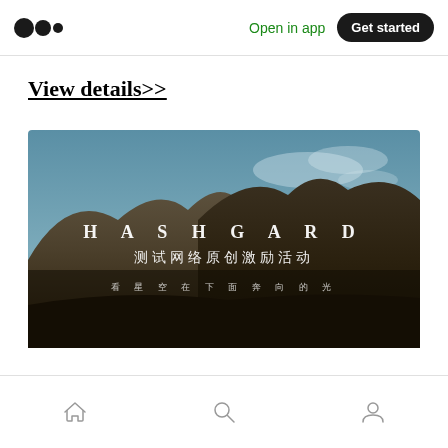Open in app  Get started
View details>>
[Figure (photo): HASHGARD promotional banner image with mountain landscape background. Text reads 'HASHGARD', '测试网络原创激励活动', and '看星空在下面奔向的光' in white lettering.]
Home  Search  Profile navigation icons